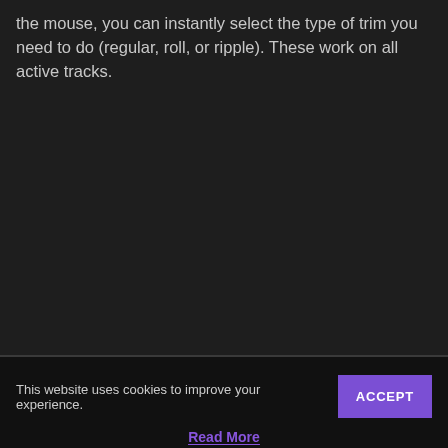the mouse, you can instantly select the type of trim you need to do (regular, roll, or ripple). These work on all active tracks.
This website uses cookies to improve your experience.
ACCEPT
Read More